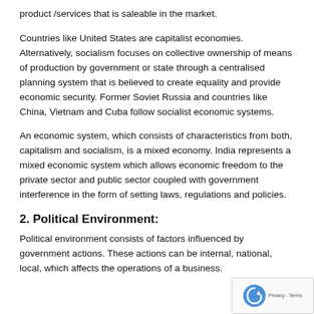product /services that is saleable in the market.
Countries like United States are capitalist economies. Alternatively, socialism focuses on collective ownership of means of production by government or state through a centralised planning system that is believed to create equality and provide economic security. Former Soviet Russia and countries like China, Vietnam and Cuba follow socialist economic systems.
An economic system, which consists of characteristics from both, capitalism and socialism, is a mixed economy. India represents a mixed economic system which allows economic freedom to the private sector and public sector coupled with government interference in the form of setting laws, regulations and policies.
2. Political Environment:
Political environment consists of factors influenced by government actions. These actions can be internal, national, local, which affects the operations of a business.